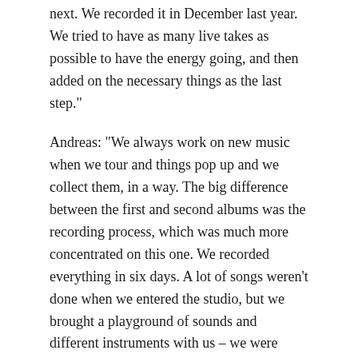next. We recorded it in December last year. We tried to have as many live takes as possible to have the energy going, and then added on the necessary things as the last step."
Andreas: "We always work on new music when we tour and things pop up and we collect them, in a way. The big difference between the first and second albums was the recording process, which was much more concentrated on this one. We recorded everything in six days. A lot of songs weren't done when we entered the studio, but we brought a playground of sounds and different instruments with us – we were trying out new stuff and instruments that we hadn't used before."
What instruments were those?
Mariam: "The instruments I'm mostly in control of are the steel drum, the santor, the gu zueng and the zither. The zither has been there from the start. I love the rough way you can use it with both